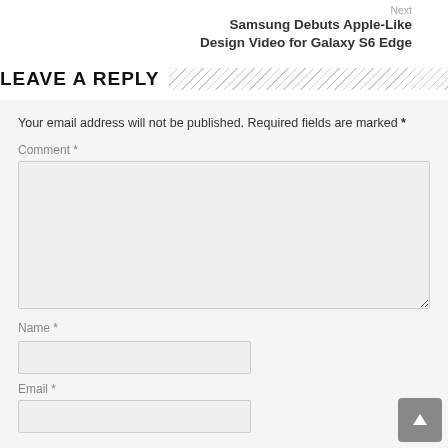Next
Samsung Debuts Apple-Like Design Video for Galaxy S6 Edge
LEAVE A REPLY
Your email address will not be published. Required fields are marked *
Comment *
Name *
Email *